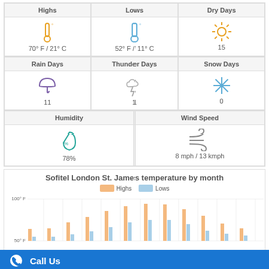| Highs | Lows | Dry Days |
| --- | --- | --- |
| 70° F / 21° C | 52° F / 11° C | 15 |
| Rain Days | Thunder Days | Snow Days |
| --- | --- | --- |
| 11 | 1 | 0 |
| Humidity | Wind Speed |
| --- | --- |
| 78% | 8 mph / 13 kmph |
[Figure (grouped-bar-chart): Sofitel London St. James temperature by month]
Call Us